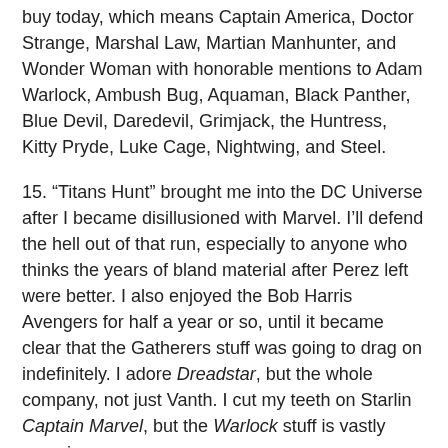buy today, which means Captain America, Doctor Strange, Marshal Law, Martian Manhunter, and Wonder Woman with honorable mentions to Adam Warlock, Ambush Bug, Aquaman, Black Panther, Blue Devil, Daredevil, Grimjack, the Huntress, Kitty Pryde, Luke Cage, Nightwing, and Steel.
15. “Titans Hunt” brought me into the DC Universe after I became disillusioned with Marvel. I’ll defend the hell out of that run, especially to anyone who thinks the years of bland material after Perez left were better. I also enjoyed the Bob Harris Avengers for half a year or so, until it became clear that the Gatherers stuff was going to drag on indefinitely. I adore Dreadstar, but the whole company, not just Vanth. I cut my teeth on Starlin Captain Marvel, but the Warlock stuff is vastly superior.
16. My late to the party entries? I trade-waited the Frank Miller trinity The Dark Knight Returns, Batman: Year One, & Daredevil: Born Again. More devastatingly though, I didn’t read Watchmen until 1994, and remain unimpressed. Marshal Law was my Watchmen. I’m not big on Alan Moore in general, which means I’ve yet to read most of his Swamp Thing, any of